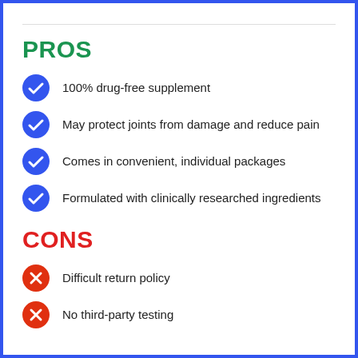PROS
100% drug-free supplement
May protect joints from damage and reduce pain
Comes in convenient, individual packages
Formulated with clinically researched ingredients
CONS
Difficult return policy
No third-party testing